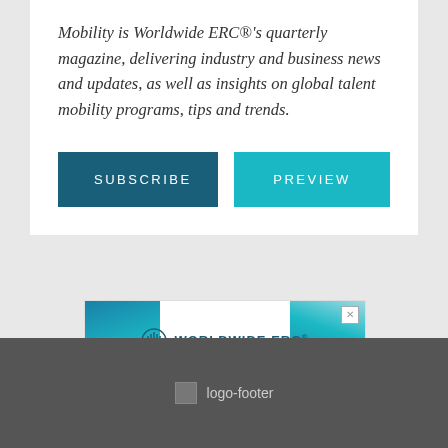Mobility is Worldwide ERC®'s quarterly magazine, delivering industry and business news and updates, as well as insights on global talent mobility programs, tips and trends.
[Figure (screenshot): Two buttons side by side: 'SUBSCRIBE' on a dark teal background and 'PREVIEW' on a lighter teal background.]
[Figure (logo): Worldwide ERC advertisement banner with teal diagonal design elements and the Worldwide ERC logo with globe/sound wave icon and text 'WORLDWIDE ERC' in blue. Has an X close button in top right corner.]
logo-footer